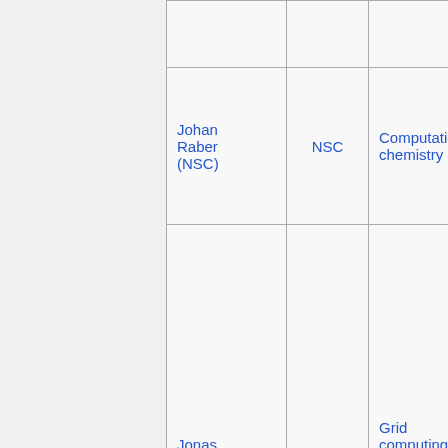| Name | Centre | Topics |
| --- | --- | --- |
|  |  |  |
| Johan Raber (NSC) | NSC | Computational chemistry |
| Jonas Lindemann (LUNARC) | LUNARC | Grid computing
Desktop environments |